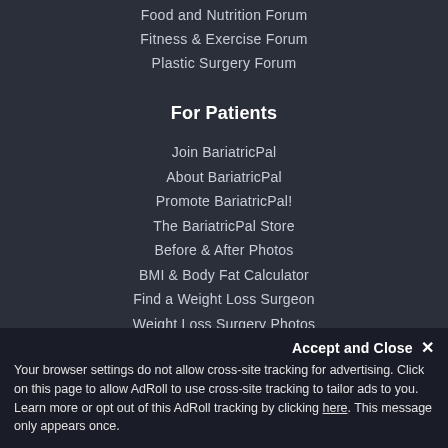Food and Nutrition Forum
Fitness & Exercise Forum
Plastic Surgery Forum
For Patients
Join BariatricPal
About BariatricPal
Promote BariatricPal!
The BariatricPal Store
Before & After Photos
BMI & Body Fat Calculator
Find a Weight Loss Surgeon
Weight Loss Surgery Photos
Books on Weight Loss Surgery
Weight Loss Surgery Information
Health Professionals
Your browser settings do not allow cross-site tracking for advertising. Click on this page to allow AdRoll to use cross-site tracking to tailor ads to you. Learn more or opt out of this AdRoll tracking by clicking here. This message only appears once.